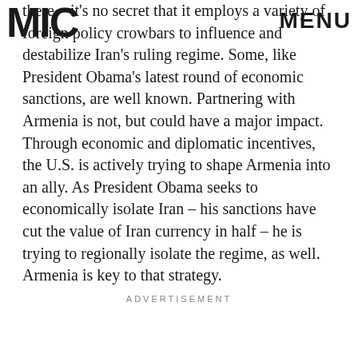MIC  MENU
there – it's no secret that it employs a variety of foreign policy crowbars to influence and destabilize Iran's ruling regime. Some, like President Obama's latest round of economic sanctions, are well known. Partnering with Armenia is not, but could have a major impact. Through economic and diplomatic incentives, the U.S. is actively trying to shape Armenia into an ally. As President Obama seeks to economically isolate Iran – his sanctions have cut the value of Iran currency in half – he is trying to regionally isolate the regime, as well. Armenia is key to that strategy.
ADVERTISEMENT